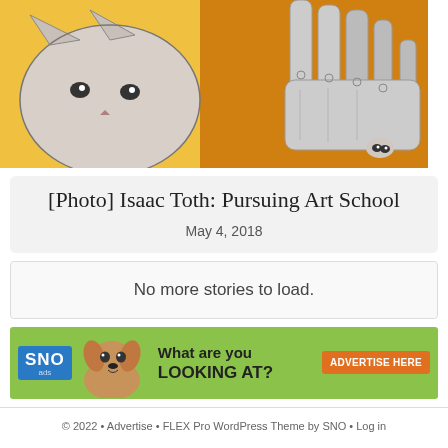[Figure (illustration): Pencil sketch drawing of a cat and human hands on an orange/yellow background]
[Photo] Isaac Toth: Pursuing Art School
May 4, 2018
No more stories to load.
[Figure (infographic): SNO ads banner advertisement: chihuahua dog image with text 'What are you LOOKING AT?' and 'ADVERTISE HERE' button on green background]
© 2022 • Advertise • FLEX Pro WordPress Theme by SNO • Log in